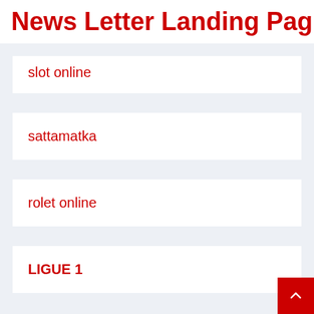News Letter Landing Pag
slot online
sattamatka
rolet online
LIGUE 1